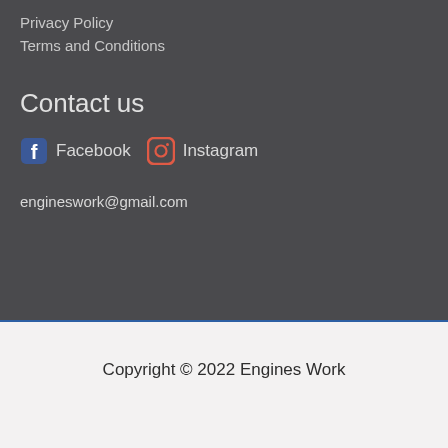Privacy Policy
Terms and Conditions
Contact us
Facebook  Instagram
engineswork@gmail.com
Copyright © 2022 Engines Work